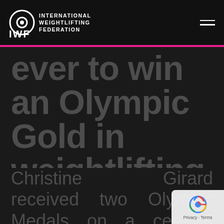IWF INTERNATIONAL WEIGHTLIFTING FEDERATION
ever to win an Olympic Gold in weightlifting. Read the story of her life!
Christine Girard received two Olympic Medals on a ceremony Monday morning in